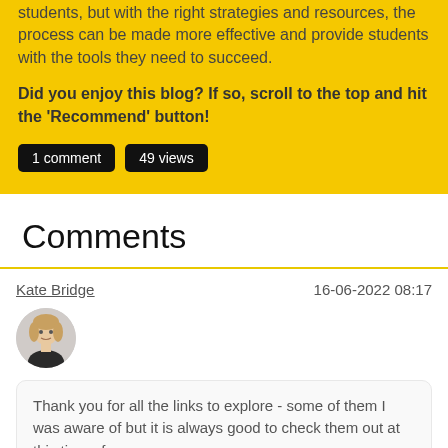students, but with the right strategies and resources, the process can be made more effective and provide students with the tools they need to succeed.
Did you enjoy this blog? If so, scroll to the top and hit the 'Recommend' button!
1 comment
49 views
Comments
Kate Bridge
16-06-2022 08:17
[Figure (photo): Circular avatar photo of Kate Bridge, a woman with blonde hair.]
Thank you for all the links to explore - some of them I was aware of but it is always good to check them out at this time of year.